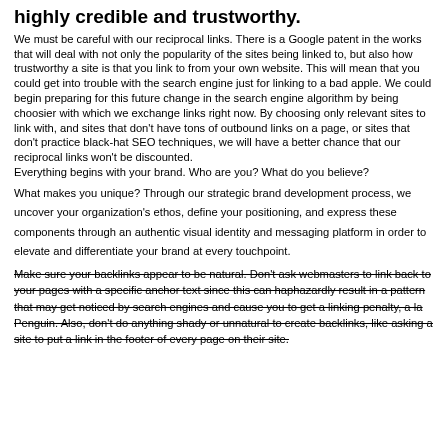highly credible and trustworthy.
We must be careful with our reciprocal links. There is a Google patent in the works that will deal with not only the popularity of the sites being linked to, but also how trustworthy a site is that you link to from your own website. This will mean that you could get into trouble with the search engine just for linking to a bad apple. We could begin preparing for this future change in the search engine algorithm by being choosier with which we exchange links right now. By choosing only relevant sites to link with, and sites that don't have tons of outbound links on a page, or sites that don't practice black-hat SEO techniques, we will have a better chance that our reciprocal links won't be discounted.
Everything begins with your brand. Who are you? What do you believe?
What makes you unique? Through our strategic brand development process, we uncover your organization's ethos, define your positioning, and express these components through an authentic visual identity and messaging platform in order to elevate and differentiate your brand at every touchpoint.
Make sure your backlinks appear to be natural. Don't ask webmasters to link back to your pages with a specific anchor text since this can haphazardly result in a pattern that may get noticed by search engines and cause you to get a linking penalty, a la Penguin. Also, don't do anything shady or unnatural to create backlinks, like asking a site to put a link in the footer of every page on their site.